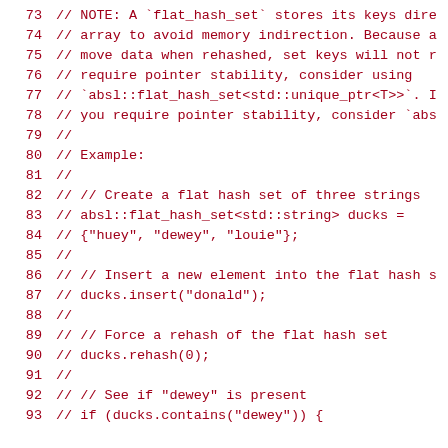73  // NOTE: A `flat_hash_set` stores its keys dire
74  // array to avoid memory indirection. Because a
75  // move data when rehashed, set keys will not r
76  // require pointer stability, consider using
77  // `absl::flat_hash_set<std::unique_ptr<T>>`. I
78  // you require pointer stability, consider `abs
79  //
80  // Example:
81  //
82  //   // Create a flat hash set of three strings
83  //   absl::flat_hash_set<std::string> ducks =
84  //       {"huey", "dewey", "louie"};
85  //
86  //   // Insert a new element into the flat hash s
87  //   ducks.insert("donald");
88  //
89  //   // Force a rehash of the flat hash set
90  //   ducks.rehash(0);
91  //
92  //   // See if "dewey" is present
93  //   if (ducks.contains("dewey")) {